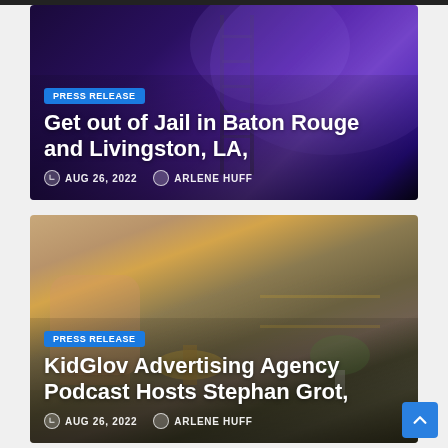[Figure (photo): Card 1: Dark room with purple/blue neon lighting, a ladder visible, and a dog in background. Overlaid with PRESS RELEASE badge, title 'Get out of Jail in Baton Rouge and Livingston, LA,', date AUG 26 2022, author ARLENE HUFF.]
[Figure (photo): Card 2: Interior room with pink armchair, gold side table, bar cart with bottles, and a white pot plant. Overlaid with PRESS RELEASE badge, title 'KidGlov Advertising Agency Podcast Hosts Stephan Grot,', date AUG 26 2022, author ARLENE HUFF.]